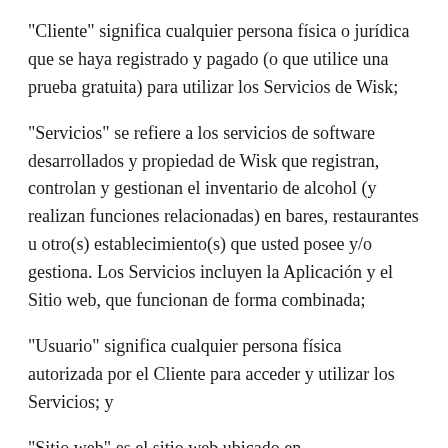"Cliente" significa cualquier persona física o jurídica que se haya registrado y pagado (o que utilice una prueba gratuita) para utilizar los Servicios de Wisk;
"Servicios" se refiere a los servicios de software desarrollados y propiedad de Wisk que registran, controlan y gestionan el inventario de alcohol (y realizan funciones relacionadas) en bares, restaurantes u otro(s) establecimiento(s) que usted posee y/o gestiona. Los Servicios incluyen la Aplicación y el Sitio web, que funcionan de forma combinada;
"Usuario" significa cualquier persona física autorizada por el Cliente para acceder y utilizar los Servicios; y
"Sitio web" es el sitio web ubicado en www.wisksolutions.com, que es propiedad de Wisk y está gestionado por ella, e incluye todos los subdominios del